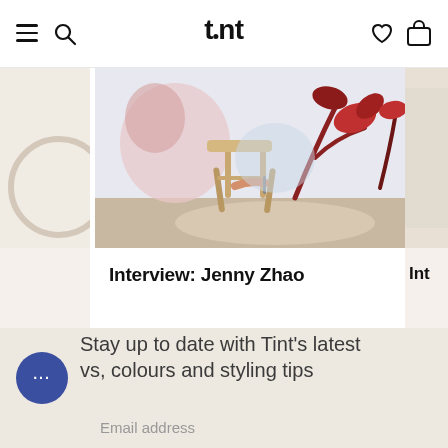tint
[Figure (photo): Screenshot of Tint website with carousel showing interview cards. Center card shows person painting a wall mural with floral design, wooden stool, and drop cloth on floor. Left and right partial cards visible.]
Interview: Jenny Zhao
Int
Stay up to date with Tint's latest vs, colours and styling tips
Email address